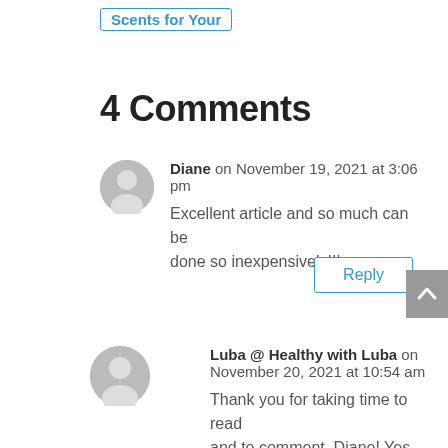Scents for Your
4 Comments
Diane on November 19, 2021 at 3:06 pm
Excellent article and so much can be done so inexpensively!!!
Reply
Luba @ Healthy with Luba on November 20, 2021 at 10:54 am
Thank you for taking time to read and to comment, Diane! Yes, we